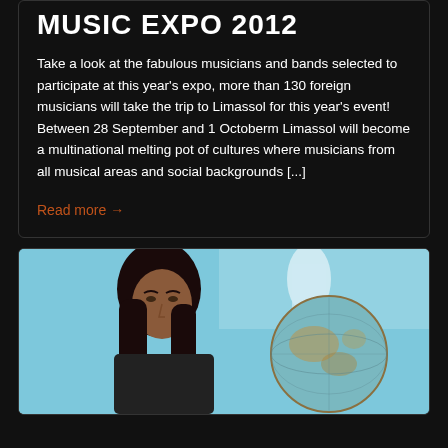MUSIC EXPO 2012
Take a look at the fabulous musicians and bands selected to participate at this year's expo, more than 130 foreign musicians will take the trip to Limassol for this year's event! Between 28 September and 1 Octoberm Limassol will become a multinational melting pot of cultures where musicians from all musical areas and social backgrounds [...]
Read more →
[Figure (photo): Photo of a young woman with long dark hair next to a large globe, against a light blue background]